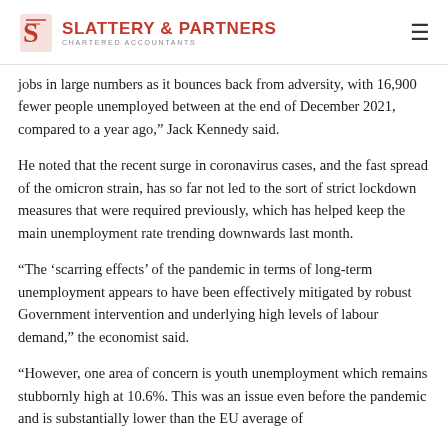SLATTERY & PARTNERS CHARTERED ACCOUNTANTS
jobs in large numbers as it bounces back from adversity, with 16,900 fewer people unemployed between at the end of December 2021, compared to a year ago," Jack Kennedy said.
He noted that the recent surge in coronavirus cases, and the fast spread of the omicron strain, has so far not led to the sort of strict lockdown measures that were required previously, which has helped keep the main unemployment rate trending downwards last month.
“The ‘scarring effects’ of the pandemic in terms of long-term unemployment appears to have been effectively mitigated by robust Government intervention and underlying high levels of labour demand,” the economist said.
“However, one area of concern is youth unemployment which remains stubbornly high at 10.6%. This was an issue even before the pandemic and is substantially lower than the EU average of